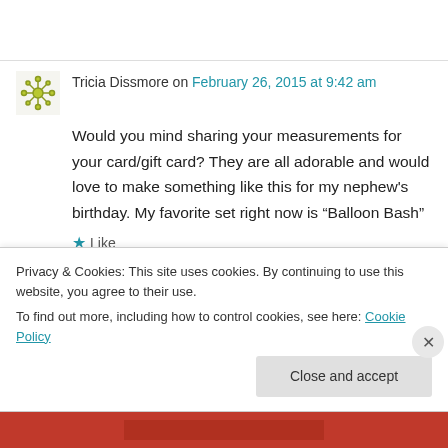Tricia Dissmore on February 26, 2015 at 9:42 am
Would you mind sharing your measurements for your card/gift card? They are all adorable and would love to make something like this for my nephew's birthday. My favorite set right now is “Balloon Bash”
Like
Privacy & Cookies: This site uses cookies. By continuing to use this website, you agree to their use.
To find out more, including how to control cookies, see here: Cookie Policy
Close and accept